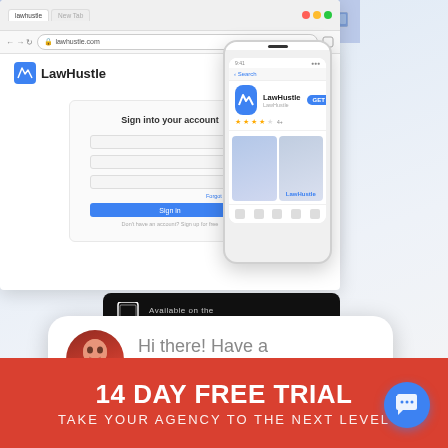[Figure (screenshot): Browser window showing LawHustle website with sign-in form and banner, overlaid with phone mockup showing App Store listing for LawHustle app]
[Figure (screenshot): Black App Store button with phone icon reading 'Available on the App Store']
[Figure (screenshot): Black Google Play button reading 'ANDROID APP ON Google play']
close
Hi there! Have a question? Text us here.
14 DAY FREE TRIAL
TAKE YOUR AGENCY TO THE NEXT LEVEL